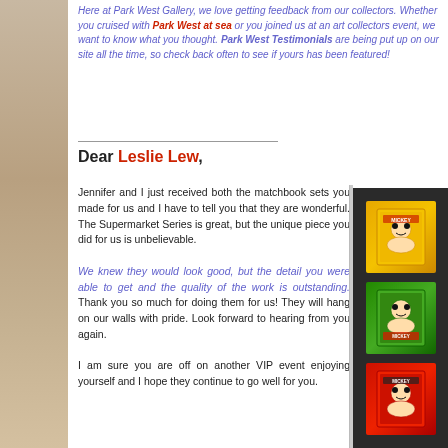Here at Park West Gallery, we love getting feedback from our collectors. Whether you cruised with Park West at sea or you joined us at an art collectors event, we want to know what you thought. Park West Testimonials are being put up on our site all the time, so check back often to see if yours has been featured!
Dear Leslie Lew,
Jennifer and I just received both the matchbook sets you made for us and I have to tell you that they are wonderful. The Supermarket Series is great, but the unique piece you did for us is unbelievable.

We knew they would look good, but the detail you were able to get and the quality of the work is outstanding. Thank you so much for doing them for us! They will hang on our walls with pride. Look forward to hearing from you again.

I am sure you are off on another VIP event enjoying yourself and I hope they continue to go well for you.
[Figure (photo): Dark background with three collectible book/card items displayed vertically - one with yellow/orange cover (top), one with green cover (middle), one with red cover (bottom), each appearing to feature cartoon character artwork]